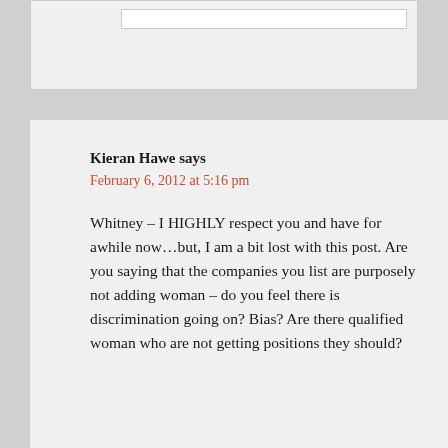Kieran Hawe says
February 6, 2012 at 5:16 pm
Whitney – I HIGHLY respect you and have for awhile now…but, I am a bit lost with this post. Are you saying that the companies you list are purposely not adding woman – do you feel there is discrimination going on? Bias? Are there qualified woman who are not getting positions they should?